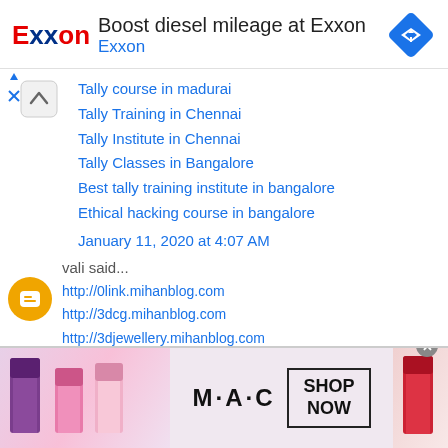[Figure (infographic): Exxon advertisement banner with Exxon logo, text 'Boost diesel mileage at Exxon' and 'Exxon', plus a blue diamond navigation icon]
Tally course in madurai
Tally Training in Chennai
Tally Institute in Chennai
Tally Classes in Bangalore
Best tally training institute in bangalore
Ethical hacking course in bangalore
January 11, 2020 at 4:07 AM
vali said...
http://0link.mihanblog.com
http://3dcg.mihanblog.com
http://3djewellery.mihanblog.com
http://3djewelry.mihanblog.com
[Figure (infographic): MAC cosmetics advertisement banner with lipsticks, MAC logo, and SHOP NOW button]